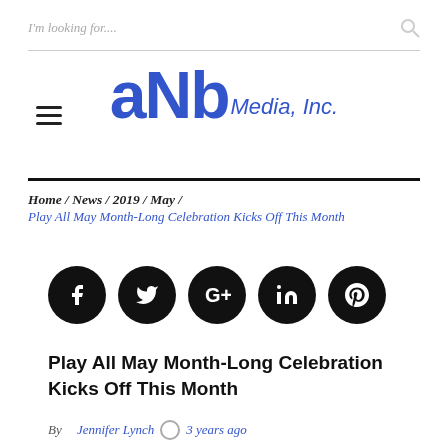I'm looking for....
[Figure (logo): aNb Media, Inc. logo with hamburger menu icon]
Home / News / 2019 / May / Play All May Month-Long Celebration Kicks Off This Month
[Figure (infographic): Social media share buttons: Facebook, Twitter, Google+, LinkedIn, Pinterest]
Play All May Month-Long Celebration Kicks Off This Month
By Jennifer Lynch  3 years ago